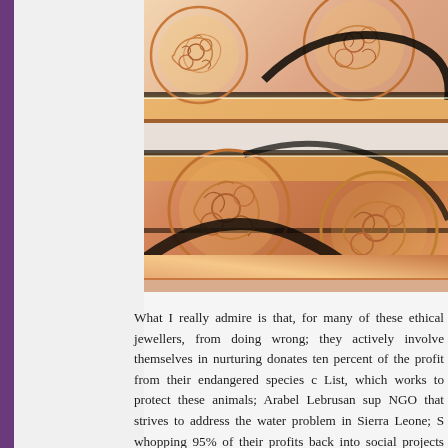[Figure (photo): Close-up photograph of ornate rose gold filigree rings/bangles stacked together, showing intricate circular scroll patterns and decorative metalwork craftsmanship.]
What I really admire is that, for many of these ethical jewellers, from doing wrong; they actively involve themselves in nurturing donates ten percent of the profit from their endangered species c List, which works to protect these animals; Arabel Lebrusan sup NGO that strives to address the water problem in Sierra Leone; S whopping 95% of their profits back into social projects that bene communities in M...